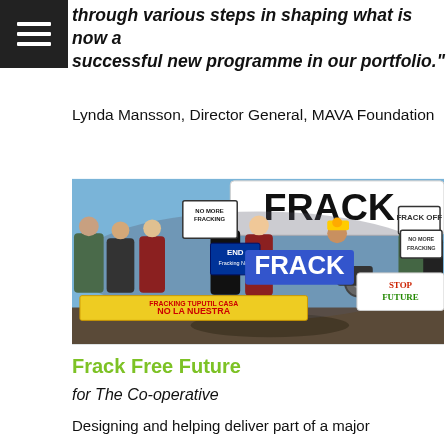through various steps in shaping what is now a successful new programme in our portfolio."
Lynda Mansson, Director General, MAVA Foundation
[Figure (photo): A large group of anti-fracking protesters holding signs including 'NO MORE FRACKING', 'END Fracking Now', 'FRACK FREE FUTURE', 'FRACKING TUPUTIL CASA NO LA NUESTRA', and 'STOP POISON OUR FUTURE'. A large white banner with 'FRACK' is visible in the background. People of various ages are gathered outdoors.]
Frack Free Future
for The Co-operative
Designing and helping deliver part of a major